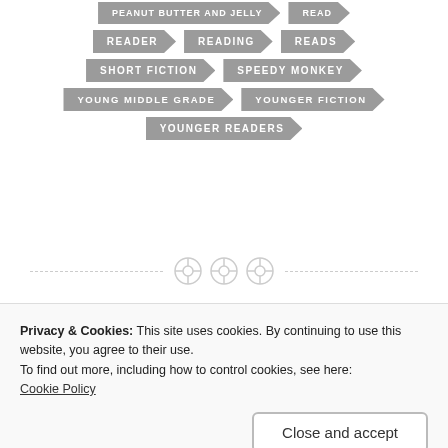[Figure (other): Tag cloud with arrow-shaped tags: PEANUT BUTTER AND JELLY (partial), READ (partial), READER, READING, READS, SHORT FICTION, SPEEDY MONKEY, YOUNG MIDDLE GRADE, YOUNGER FICTION, YOUNGER READERS]
[Figure (other): Decorative divider with three button/spool icons and dashed lines]
PREVIOUS POST
Privacy & Cookies: This site uses cookies. By continuing to use this website, you agree to their use.
To find out more, including how to control cookies, see here:
Cookie Policy
Close and accept